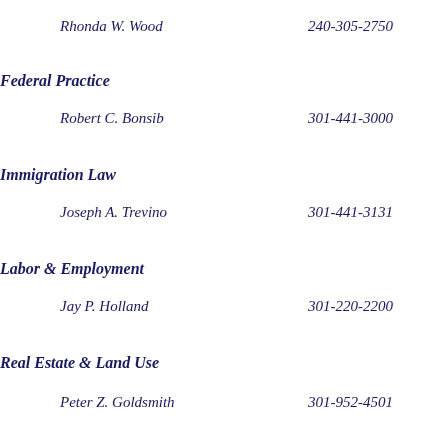Rhonda W. Wood    240-305-2750
Federal Practice
Robert C. Bonsib    301-441-3000
Immigration Law
Joseph A. Trevino    301-441-3131
Labor & Employment
Jay P. Holland    301-220-2200
Real Estate & Land Use
Peter Z. Goldsmith    301-952-4501